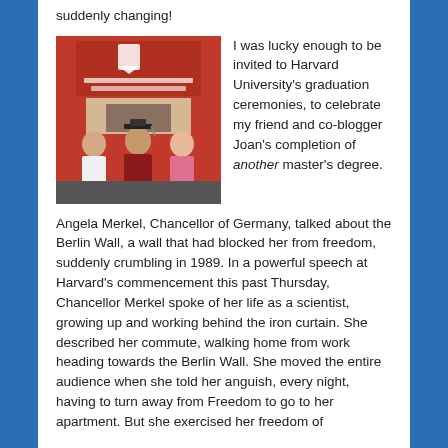suddenly changing!
[Figure (photo): Three people posing in front of a Harvard University Extension School banner. The person in the middle is wearing graduation cap and gown.]
I was lucky enough to be invited to Harvard University's graduation ceremonies, to celebrate my friend and co-blogger Joan's completion of another master's degree.
Angela Merkel, Chancellor of Germany, talked about the Berlin Wall, a wall that had blocked her from freedom, suddenly crumbling in 1989. In a powerful speech at Harvard's commencement this past Thursday, Chancellor Merkel spoke of her life as a scientist, growing up and working behind the iron curtain. She described her commute, walking home from work heading towards the Berlin Wall. She moved the entire audience when she told her anguish, every night, having to turn away from Freedom to go to her apartment. But she exercised her freedom of